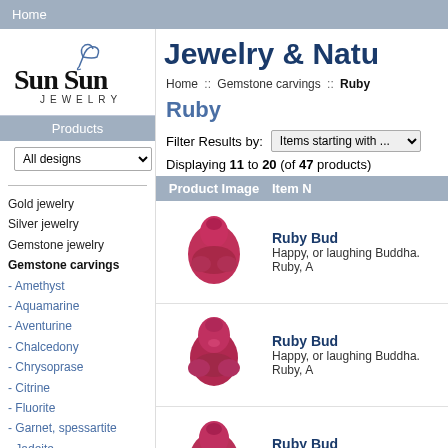Home
[Figure (logo): Sun Sun Jewelry logo with bird/swan graphic above text]
Jewelry & Natu
Home :: Gemstone carvings :: Ruby
Products
All designs (dropdown)
Gold jewelry
Silver jewelry
Gemstone jewelry
Gemstone carvings
- Amethyst
- Aquamarine
- Aventurine
- Chalcedony
- Chrysoprase
- Citrine
- Fluorite
- Garnet, spessartite
- Jadeite
- Lapis lazuli
- Magnesite
- Moon stone
- Morganite
- Mother of pearl
- Nephrite jade
- Obsidian
Ruby
Filter Results by: Items starting with ...
Displaying 11 to 20 (of 47 products)
| Product Image | Item N |
| --- | --- |
| [Ruby Buddha image] | Ruby Bud
Happy, or laughing Buddha. Ruby, A |
| [Ruby Buddha image] | Ruby Bud
Happy, or laughing Buddha. Ruby, A |
| [Ruby Buddha image] | Ruby Bud
Happy, or laughing Buddha. Ruby, |